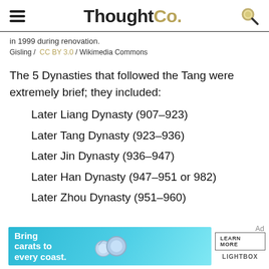ThoughtCo.
in 1999 during renovation.
Gisling / CC BY 3.0 / Wikimedia Commons
The 5 Dynasties that followed the Tang were extremely brief; they included:
Later Liang Dynasty (907–923)
Later Tang Dynasty (923–936)
Later Jin Dynasty (936–947)
Later Han Dynasty (947–951 or 982)
Later Zhou Dynasty (951–960)
[Figure (infographic): Advertisement banner: Bring carats to every coast. LEARN MORE. LIGHTBOX.]